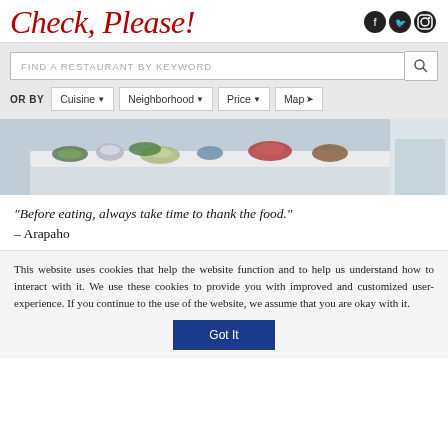Check, Please!
[Figure (screenshot): Social media icons: Facebook, Twitter, Instagram in circular dark buttons]
[Figure (screenshot): Search bar with placeholder text 'FIND A RESTAURANT BY KEYWORD' and a magnifying glass search button]
OR BY  Cuisine ▼  Neighborhood ▼  Price ▼  Map ➤
[Figure (photo): Photo of a kitchen counter with various dishes, bowls, and plates of food arranged on a white surface]
“Before eating, always take time to thank the food.”
– Arapaho
This website uses cookies that help the website function and to help us understand how to interact with it. We use these cookies to provide you with improved and customized user-experience. If you continue to the use of the website, we assume that you are okay with it.
Got It